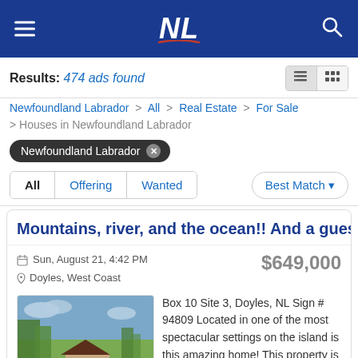NL (Newfoundland Labrador classifieds logo)
Results: 474 ads found
Newfoundland Labrador > All > Real Estate > For Sale > Houses in Newfoundland Labrador
Newfoundland Labrador ×
All  Offering  Wanted  Best Match
Mountains, river, and the ocean!! And a guest ho
Sun, August 21, 4:42 PM  $649,000  Doyles, West Coast
[Figure (photo): Aerial view of a house with dark roof surrounded by trees and a driveway, green lawn visible]
Box 10 Site 3, Doyles, NL Sign # 94809 Located in one of the most spectacular settings on the island is this amazing home! This property is perfect for someone looking to get